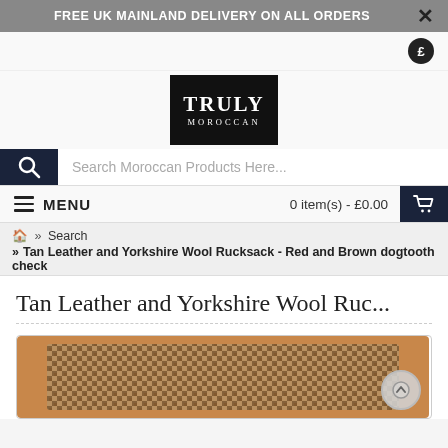FREE UK MAINLAND DELIVERY ON ALL ORDERS
[Figure (logo): Truly Moroccan logo — white text on black square background]
Search Moroccan Products Here...
MENU   0 item(s) - £0.00
» Search » Tan Leather and Yorkshire Wool Rucksack - Red and Brown dogtooth check
Tan Leather and Yorkshire Wool Ruc...
[Figure (photo): Close-up of a tan leather and Yorkshire wool fabric rucksack with red and brown dogtooth check pattern]